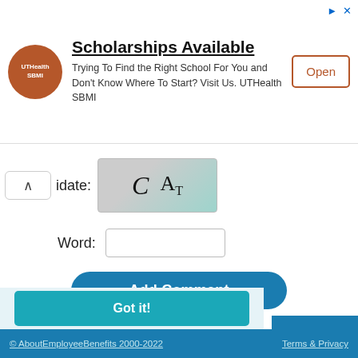[Figure (screenshot): Advertisement banner for UTHealth SBMI with logo, text 'Scholarships Available', body text 'Trying To Find the Right School For You and Don't Know Where To Start? Visit Us. UTHealth SBMI', and an Open button.]
[Figure (screenshot): CAPTCHA validation widget showing a chevron/up arrow button, label 'idate:', and a CAPTCHA image with letters C and AT on a gray-green gradient background.]
Word:
[Figure (screenshot): Add Comment button, dark teal rounded rectangle.]
This website uses cookies to ensure you get the best experience on our website.
Cookie Policy
[Figure (screenshot): Got it! teal button for cookie consent.]
efore
enefits
© AboutEmployeeBenefits 2000-2022    Terms & Privacy